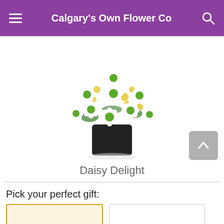Calgary's Own Flower Co
[Figure (photo): A flower arrangement of white daisies with green centers and yellow accent flowers in a small square black vase, photographed on a white background.]
Daisy Delight
Pick your perfect gift: